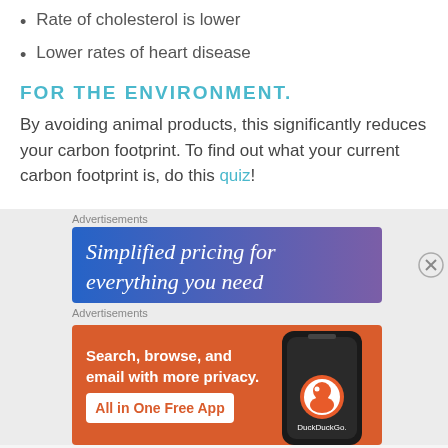Rate of cholesterol is lower
Lower rates of heart disease
FOR THE ENVIRONMENT.
By avoiding animal products, this significantly reduces your carbon footprint. To find out what your current carbon footprint is, do this quiz!
[Figure (screenshot): Advertisement banner: 'Simplified pricing for everything you need' on a blue-to-purple gradient background]
[Figure (screenshot): DuckDuckGo advertisement: 'Search, browse, and email with more privacy. All in One Free App' on an orange background with a phone and DuckDuckGo logo]